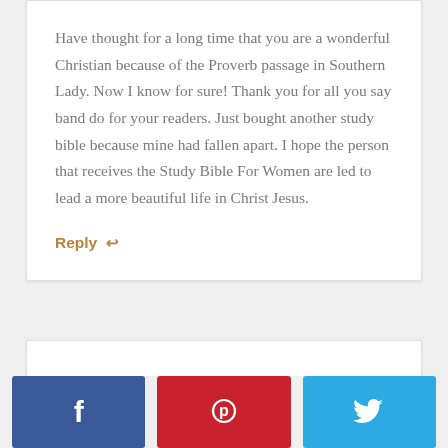Have thought for a long time that you are a wonderful Christian because of the Proverb passage in Southern Lady. Now I know for sure! Thank you for all you say band do for your readers. Just bought another study bible because mine had fallen apart. I hope the person that receives the Study Bible For Women are led to lead a more beautiful life in Christ Jesus.
Reply ↩
[Figure (other): Social share buttons: Facebook (blue), Pinterest (red), Twitter (light blue)]